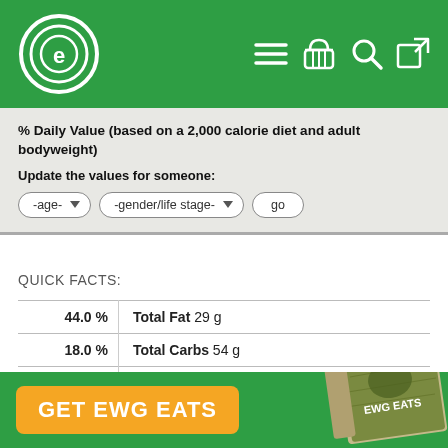EWG header with logo and navigation icons
% Daily Value (based on a 2,000 calorie diet and adult bodyweight)
Update the values for someone:
-age- | -gender/life stage- | go
QUICK FACTS:
|  |  |
| --- | --- |
| 44.0 % | Total Fat 29 g |
| 18.0 % | Total Carbs 54 g |
|  | Sugars 28 g |
| % | Protein 5 g |
AVOID TOO MUCH:
GET EWG EATS